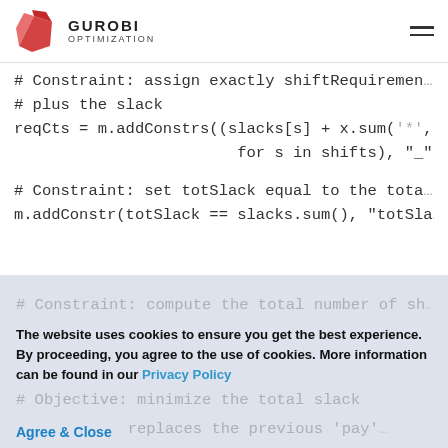GUROBI OPTIMIZATION
# Constraint: assign exactly shiftRequirements
# plus the slack
reqCts = m.addConstrs((slacks[s] + x.sum('*',
                        for s in shifts), "_")
# Constraint: set totSlack equal to the total
m.addConstr(totSlack == slacks.sum(), "totSla
# Constraint: compute the total number of sh...
The website uses cookies to ensure you get the best experience. By proceeding, you agree to the use of cookies. More information can be found in our Privacy Policy
# Objective: minimize the total slack
Agree & Close
# ... replaces the previous 'pay'
m.setObjective(totSlack)